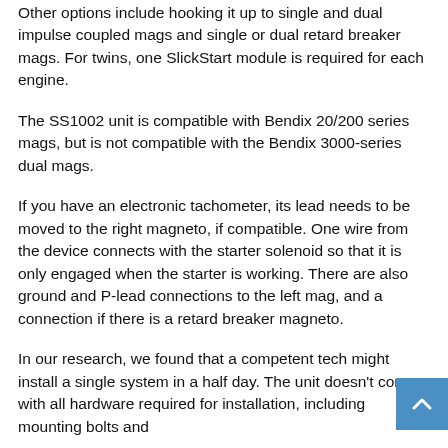Other options include hooking it up to single and dual impulse coupled mags and single or dual retard breaker mags. For twins, one SlickStart module is required for each engine.
The SS1002 unit is compatible with Bendix 20/200 series mags, but is not compatible with the Bendix 3000-series dual mags.
If you have an electronic tachometer, its lead needs to be moved to the right magneto, if compatible. One wire from the device connects with the starter solenoid so that it is only engaged when the starter is working. There are also ground and P-lead connections to the left mag, and a connection if there is a retard breaker magneto.
In our research, we found that a competent tech might install a single system in a half day. The unit doesn't come with all hardware required for installation, including mounting bolts and